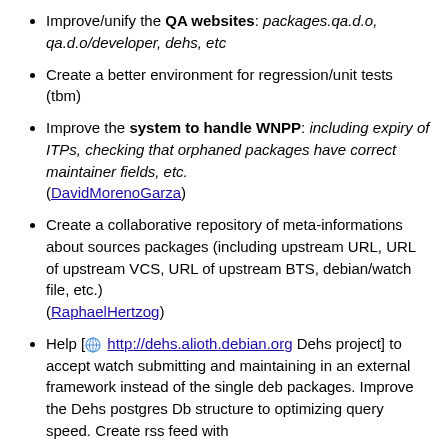Improve/unify the QA websites: packages.qa.d.o, qa.d.o/developer, dehs, etc
Create a better environment for regression/unit tests (tbm)
Improve the system to handle WNPP: including expiry of ITPs, checking that orphaned packages have correct maintainer fields, etc. (DavidMorenoGarza)
Create a collaborative repository of meta-informations about sources packages (including upstream URL, URL of upstream VCS, URL of upstream BTS, debian/watch file, etc.) (RaphaelHertzog)
Help [ http://dehs.alioth.debian.org Dehs project] to accept watch submitting and maintaining in an external framework instead of the single deb packages. Improve the Dehs postgres Db structure to optimizing query speed. Create rss feed with